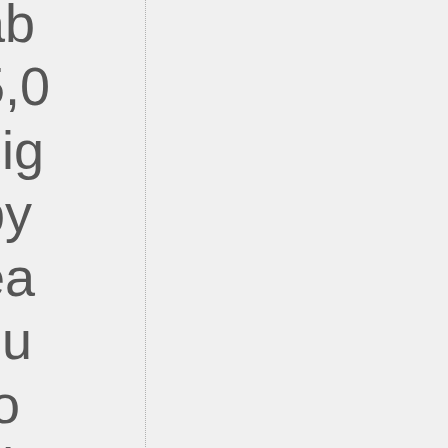ab 5,0 sig by ea Ju to ch inc Ph Be He fig a cre ca wil co at